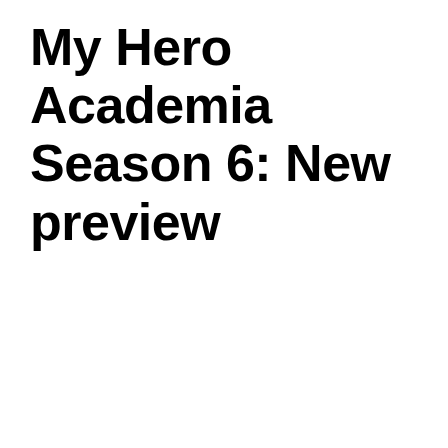My Hero Academia Season 6: New preview
[Figure (screenshot): Embedded YouTube video player showing a black video frame with a circular channel icon on the left, Japanese text title reading '僕のヒーローアカデミア 6期PV第2弾2022年10...' and a three-dot menu icon. A Google reCAPTCHA privacy badge appears in the bottom right corner with 'Privacy · Terms' text.]